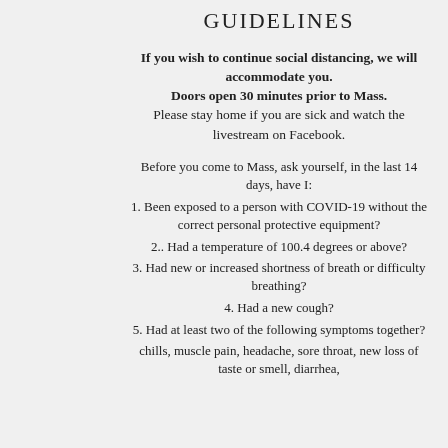GUIDELINES
If you wish to continue social distancing, we will accommodate you. Doors open 30 minutes prior to Mass. Please stay home if you are sick and watch the livestream on Facebook.
Before you come to Mass, ask yourself, in the last 14 days, have I:
1. Been exposed to a person with COVID-19 without the correct personal protective equipment?
2.. Had a temperature of 100.4 degrees or above?
3. Had new or increased shortness of breath or difficulty breathing?
4. Had a new cough?
5. Had at least two of the following symptoms together?
chills, muscle pain, headache, sore throat, new loss of taste or smell, diarrhea,